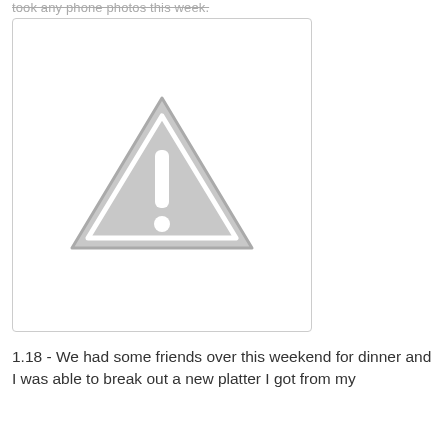took any phone photos this week.
[Figure (photo): Broken/missing image placeholder showing a grey warning triangle with exclamation mark inside a white bordered box]
1.18 - We had some friends over this weekend for dinner and I was able to break out a new platter I got from my